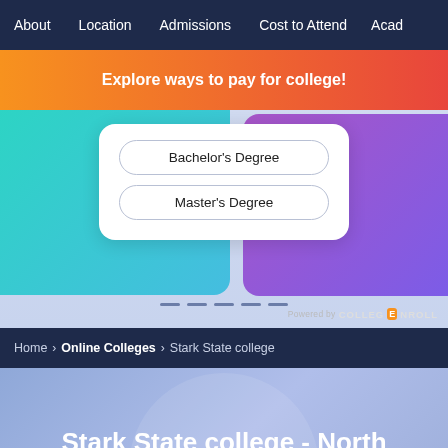About   Location   Admissions   Cost to Attend   Acad...
Explore ways to pay for college!
Bachelor's Degree
Master's Degree
Powered by COLLEGE NROLL
Home > Online Colleges > Stark State college
Stark State college - North Canton,Ohio